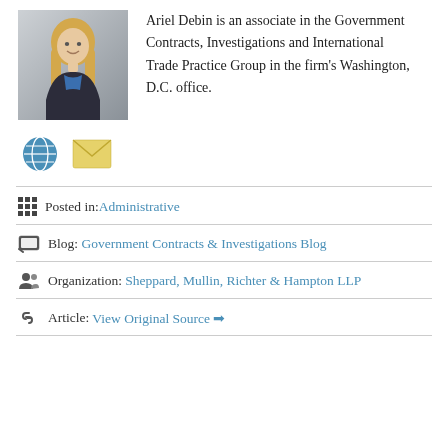[Figure (photo): Headshot photo of Ariel Debin, a woman with long blonde hair wearing a blue top and dark jacket, smiling against a grey background.]
Ariel Debin is an associate in the Government Contracts, Investigations and International Trade Practice Group in the firm's Washington, D.C. office.
[Figure (other): Globe icon and envelope/email icon]
Posted in: Administrative
Blog: Government Contracts & Investigations Blog
Organization: Sheppard, Mullin, Richter & Hampton LLP
Article: View Original Source